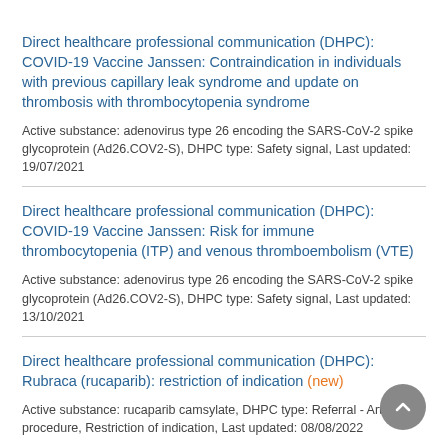Direct healthcare professional communication (DHPC): COVID-19 Vaccine Janssen: Contraindication in individuals with previous capillary leak syndrome and update on thrombosis with thrombocytopenia syndrome
Active substance: adenovirus type 26 encoding the SARS-CoV-2 spike glycoprotein (Ad26.COV2-S), DHPC type: Safety signal, Last updated: 19/07/2021
Direct healthcare professional communication (DHPC): COVID-19 Vaccine Janssen: Risk for immune thrombocytopenia (ITP) and venous thromboembolism (VTE)
Active substance: adenovirus type 26 encoding the SARS-CoV-2 spike glycoprotein (Ad26.COV2-S), DHPC type: Safety signal, Last updated: 13/10/2021
Direct healthcare professional communication (DHPC): Rubraca (rucaparib): restriction of indication (new)
Active substance: rucaparib camsylate, DHPC type: Referral - Article 20 procedure, Restriction of indication, Last updated: 08/08/2022